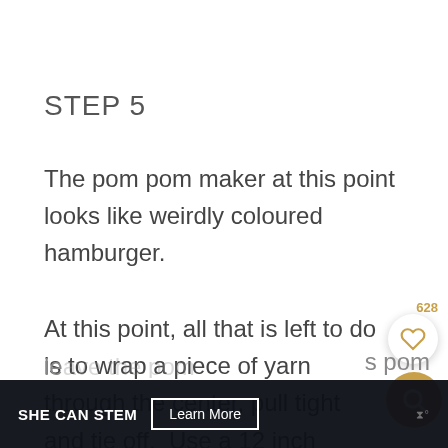STEP 5
The pom pom maker at this point looks like weirdly coloured hamburger.
At this point, all that is left to do is to wrap a piece of yarn through the center, pull tight and tie off.  Use a 12 inch strand of yarn, wrap twice, and le... s pom
[Figure (other): Heart/like button with count 628 and a gold search button overlay]
SHE CAN STEM  Learn More